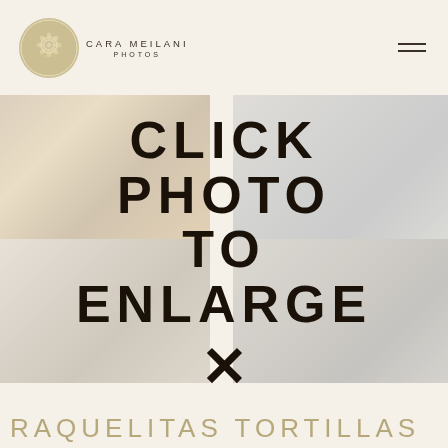[Figure (logo): Cara Meilani Photos circular logo — gold/tan circle with floral design, text CARA MEILANI PHOTOS below]
[Figure (photo): Four photo grid with CLICK PHOTO TO ENLARGE overlay text and X close symbol. Top-left: hands styling hair. Top-right: building exterior. Bottom-left: woman with dark hair. Bottom-right: building with signage and shrubs.]
RAQUELITAS TORTILLAS